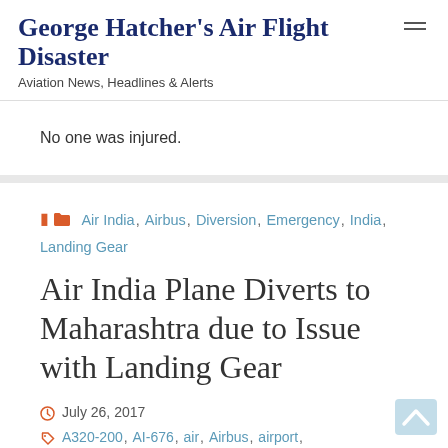George Hatcher's Air Flight Disaster — Aviation News, Headlines & Alerts
No one was injured.
Air India, Airbus, Diversion, Emergency, India, Landing Gear
Air India Plane Diverts to Maharashtra due to Issue with Landing Gear
July 26, 2017
A320-200, AI-676, air, Airbus, airport,